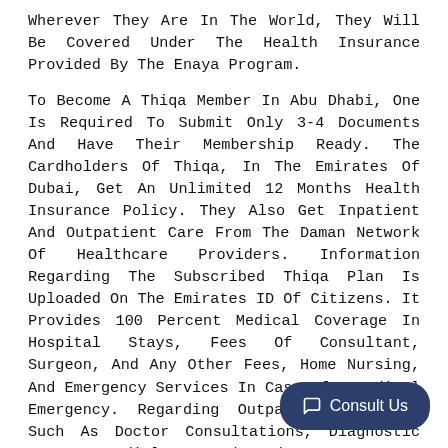Wherever They Are In The World, They Will Be Covered Under The Health Insurance Provided By The Enaya Program.
To Become A Thiqa Member In Abu Dhabi, One Is Required To Submit Only 3-4 Documents And Have Their Membership Ready. The Cardholders Of Thiqa, In The Emirates Of Dubai, Get An Unlimited 12 Months Health Insurance Policy. They Also Get Inpatient And Outpatient Care From The Daman Network Of Healthcare Providers. Information Regarding The Subscribed Thiqa Plan Is Uploaded On The Emirates ID Of Citizens. It Provides 100 Percent Medical Coverage In Hospital Stays, Fees Of Consultant, Surgeon, And Any Other Fees, Home Nursing, And Emergency Services In Case Of A Medical Emergency. Regarding Outpatient Clinics, Such As Doctor Consultations, Diagnostic Tests, Radiology And Laboratory Test, Pharmaceutical, Psychotherapy, Etc Is Fully Covered Under The Insurance Policy Of The Thiqa Program.